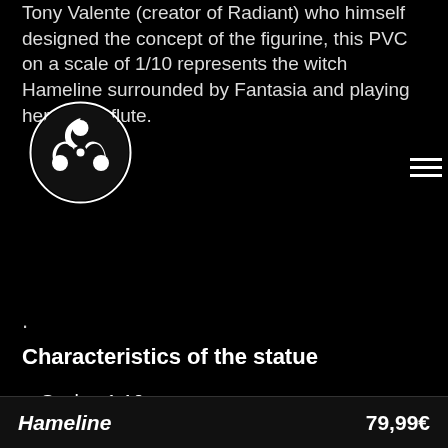Tony Valente (creator of Radiant) who himself designed the concept of the figurine, this PVC on a scale of 1/10 represents the witch Hameline surrounded by Fantasia and playing her magic flute.
[Figure (logo): Circular logo with triple spiral/tomoe symbol in black and white]
.
Characteristics of the statue
Scale : 1:10
Dimensions : H20 x W14 x D14 cm
Weight : 600 g
Materials : PVC
Price : 79.99€
Payment Methods : Visa, Mastercard or PayPal
Hameline    79,99€